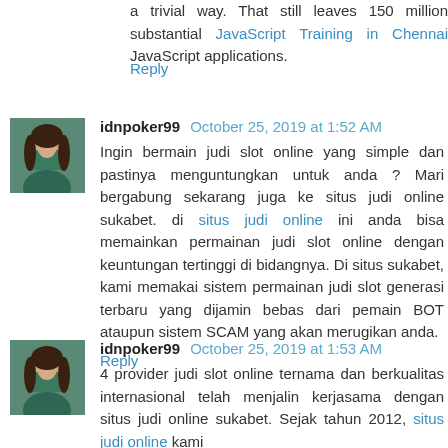a trivial way. That still leaves 150 million substantial JavaScript Training in Chennai JavaScript applications.
Reply
idnpoker99  October 25, 2019 at 1:52 AM
Ingin bermain judi slot online yang simple dan pastinya menguntungkan untuk anda ? Mari bergabung sekarang juga ke situs judi online sukabet. di situs judi online ini anda bisa memainkan permainan judi slot online dengan keuntungan tertinggi di bidangnya. Di situs sukabet, kami memakai sistem permainan judi slot generasi terbaru yang dijamin bebas dari pemain BOT ataupun sistem SCAM yang akan merugikan anda.
Reply
idnpoker99  October 25, 2019 at 1:53 AM
4 provider judi slot online ternama dan berkualitas internasional telah menjalin kerjasama dengan situs judi online sukabet. Sejak tahun 2012, situs judi online kami